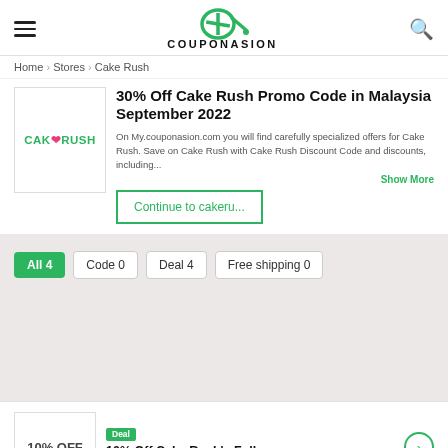COUPONASION
Home > Stores > Cake Rush
30% Off Cake Rush Promo Code in Malaysia September 2022
On My.couponasion.com you will find carefully specialized offers for Cake Rush. Save on Cake Rush with Cake Rush Discount Code and discounts, including...
Continue to cakeru...
All 4  Code 0  Deal 4  Free shipping 0
Deal
10% Off Cake Rush's Followers
Ends 20-09-22